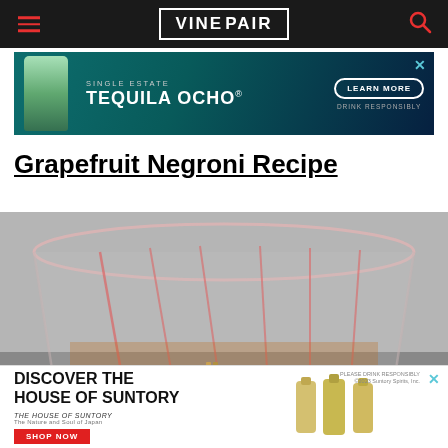VINEPAIR
[Figure (photo): Advertisement banner for Single Estate Tequila Ocho with a bottle image and 'Learn More' button]
Grapefruit Negroni Recipe
[Figure (photo): Close-up photo of a grapefruit negroni cocktail in a pink-rimmed glass with a wooden mini clothespin garnish on the rim, on a gray surface]
[Figure (photo): Advertisement banner for Discover the House of Suntory with product bottles image and 'Shop Now' button]